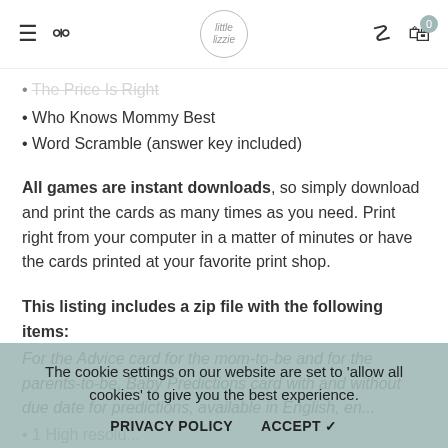Navigation bar with hamburger menu, search icon, Little Lizzie logo, user icon, and cart with 0 items
The Price Is Right (partial, cut off)
• Who Knows Mommy Best
• Word Scramble (answer key included)
All games are instant downloads, so simply download and print the cards as many times as you need. Print right from your computer in a matter of minutes or have the cards printed at your favorite print shop.
This listing includes a zip file with the following items:
For the Advice card for the mom-to-be and for the parents-to-be, Baby Predictions card with and without due date for predictions, available in English, en...
• 1 High resolu...
The cookie settings on our website are set to 'allow all cookies' to give you the best experience.
PRIVACY POLICY   ACCEPT ✔